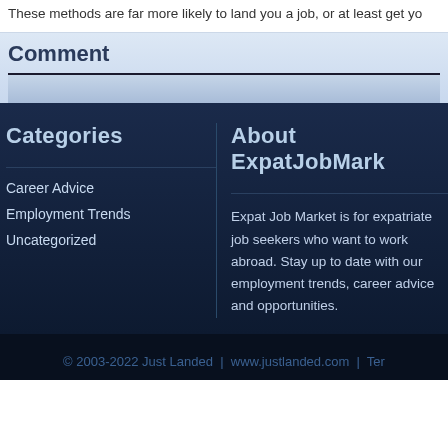These methods are far more likely to land you a job, or at least get yo
Comment
Categories
About ExpatJobMark
Career Advice
Employment Trends
Uncategorized
Expat Job Market is for expatriate job seekers who want to work abroad. Stay up to date with our employment trends, career advice and opportunities.
© 2003-2022 Just Landed  |  www.justlanded.com  |  Ter